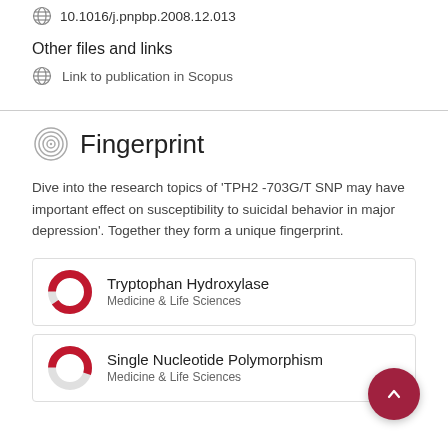10.1016/j.pnpbp.2008.12.013
Other files and links
Link to publication in Scopus
Fingerprint
Dive into the research topics of 'TPH2 -703G/T SNP may have important effect on susceptibility to suicidal behavior in major depression'. Together they form a unique fingerprint.
Tryptophan Hydroxylase
Medicine & Life Sciences
Single Nucleotide Polymorphism
Medicine & Life Sciences